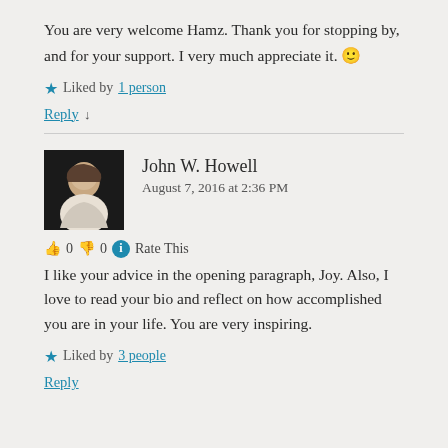You are very welcome Hamz. Thank you for stopping by, and for your support. I very much appreciate it. 🙂
★ Liked by 1 person
Reply ↓
John W. Howell
August 7, 2016 at 2:36 PM
👍 0 👎 0 ℹ Rate This
I like your advice in the opening paragraph, Joy. Also, I love to read your bio and reflect on how accomplished you are in your life. You are very inspiring.
★ Liked by 3 people
Reply